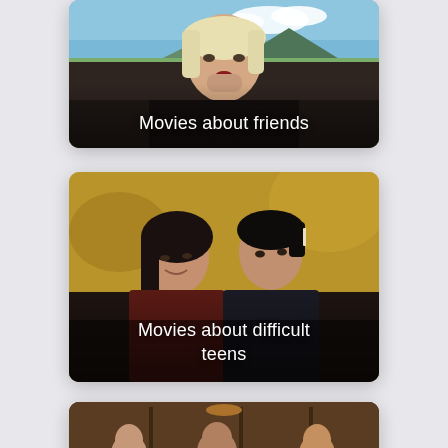[Figure (photo): Card showing a blonde woman close-up with sky and mountains in background, labeled 'Movies about friends']
[Figure (photo): Card showing a couple facing each other romantically with autumn bokeh background, labeled 'Movies about difficult teens']
[Figure (photo): Partially visible card showing people in an indoor restaurant/bar setting]